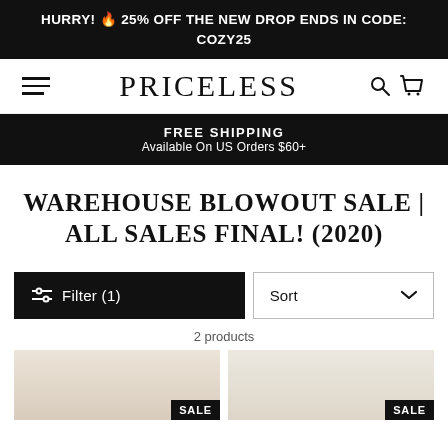HURRY! 🔥 25% OFF THE NEW DROP ENDS IN CODE: COZY25
[Figure (logo): Priceless brand logo with hamburger menu, search and cart icons]
FREE SHIPPING
Available On US Orders $60+
WAREHOUSE BLOWOUT SALE | ALL SALES FINAL! (2020)
Filter (1)    Sort
2 products
[Figure (photo): Two product thumbnails both labeled SALE]